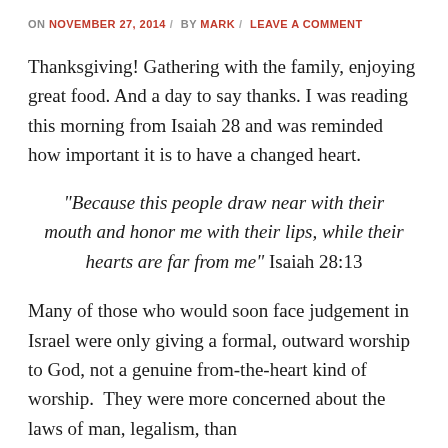ON NOVEMBER 27, 2014 / BY MARK / LEAVE A COMMENT
Thanksgiving! Gathering with the family, enjoying great food. And a day to say thanks. I was reading this morning from Isaiah 28 and was reminded how important it is to have a changed heart.
“Because this people draw near with their mouth and honor me with their lips, while their hearts are far from me” Isaiah 28:13
Many of those who would soon face judgement in Israel were only giving a formal, outward worship to God, not a genuine from-the-heart kind of worship.  They were more concerned about the laws of man, legalism, than